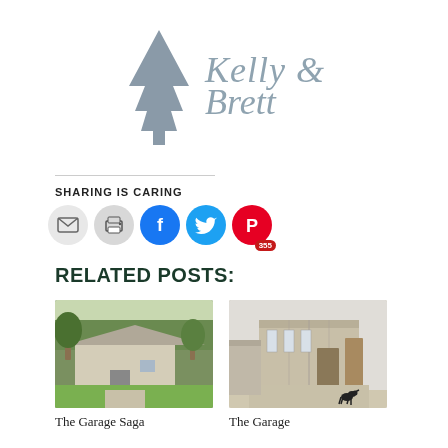[Figure (logo): Pine tree icon with cursive script text reading 'Kelly & Brett']
SHARING IS CARING
[Figure (infographic): Social sharing icons: email (grey), print (grey), Facebook (blue), Twitter (cyan), Pinterest (red) with badge showing 355]
RELATED POSTS:
[Figure (photo): Photo of a small detached garage building with green lawn and trees]
The Garage Saga
[Figure (photo): Photo of a modern garage exterior with a black dog standing in the driveway]
The Garage